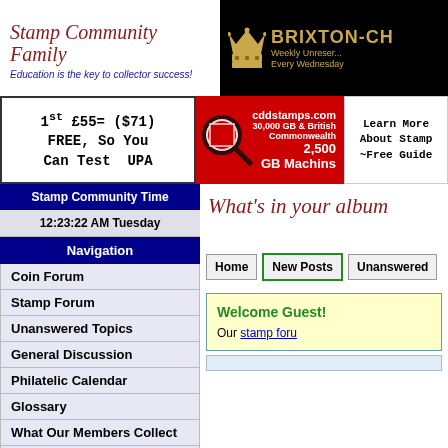[Figure (logo): Stamp Community Family logo with italic script text and tagline 'Education is the key to collector success!']
[Figure (logo): Brixton-Ch banner with crown icon on black background, text 'Weekly Unreser... Every Wednesday']
[Figure (other): Ad: 1st £55= ($71) FREE, So You Can Test UPA]
[Figure (other): Ad: cddstamps.com 30,000 GB & British Commonwealth 2,500 GB Machins with magnifier graphic]
[Figure (other): Ad: Learn More About Stamps ~Free Guide]
Stamp Community Time
12:23:22 AM Tuesday
Navigation
Coin Forum
Stamp Forum
Unanswered Topics
General Discussion
Philatelic Calendar
Glossary
What Our Members Collect
Contact Us
Advertise Here
SCF Reccomended
What's in your album
Home
New Posts
Unanswered
Welcome Guest!
Our stamp foru